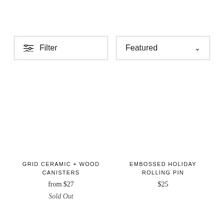Filter
Featured
GRID CERAMIC + WOOD CANISTERS
from $27
Sold Out
EMBOSSED HOLIDAY ROLLING PIN
$25